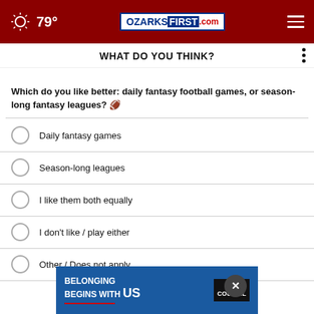79° OZARKSFIRST.com
WHAT DO YOU THINK?
Which do you like better: daily fantasy football games, or season-long fantasy leagues?
Daily fantasy games
Season-long leagues
I like them both equally
I don't like / play either
Other / Does not apply
NEXT *
* By clicking "NEXT" you agree to the following: We use cookies to track your survey answers. If you would like to continue with this survey please read
[Figure (infographic): Ad banner: BELONGING BEGINS WITH US with Ad Council logo]